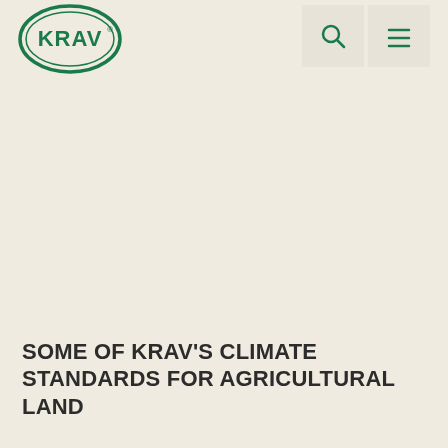[Figure (logo): KRAV green oval logo with KRAV text inside]
SOME OF KRAV'S CLIMATE STANDARDS FOR AGRICULTURAL LAND